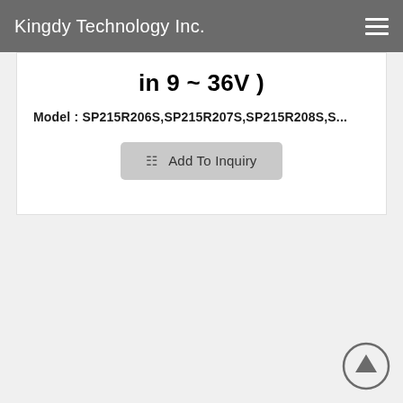Kingdy Technology Inc.
in 9 ~ 36V )
Model : SP215R206S,SP215R207S,SP215R208S,S...
[Figure (screenshot): Add To Inquiry button with grid/table icon]
[Figure (other): Scroll-to-top arrow circle button at bottom right]